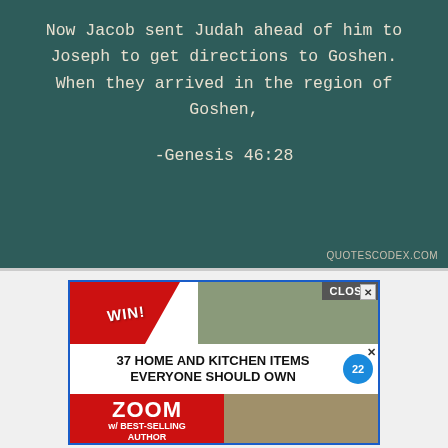[Figure (photo): Dark teal/green chalkboard background with a white monospace-font Bible quote: 'Now Jacob sent Judah ahead of him to Joseph to get directions to Goshen. When they arrived in the region of Goshen,' followed by reference '-Genesis 46:28'. Watermark 'QUOTESCODEX.COM' in lower right.]
[Figure (screenshot): Advertisement banner with blue border. Top section has red diagonal 'WIN!' ribbon on left and photo of woman with 'CLOSE' button on right. Middle row shows bold text '37 HOME AND KITCHEN ITEMS EVERYONE SHOULD OWN' with circular badge '22'. Bottom row shows red section with 'ZOOM' and 'w/ BEST-SELLING AUTHOR' text on left, photo of smiling woman on right.]